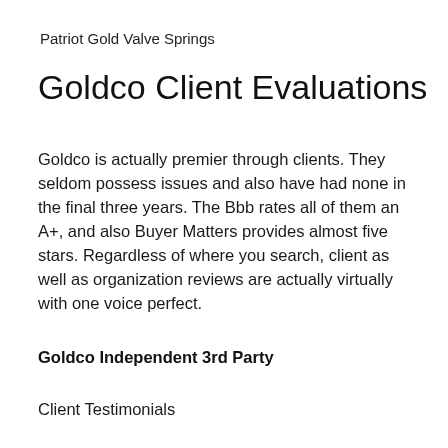Patriot Gold Valve Springs
Goldco Client Evaluations
Goldco is actually premier through clients. They seldom possess issues and also have had none in the final three years. The Bbb rates all of them an A+, and also Buyer Matters provides almost five stars. Regardless of where you search, client as well as organization reviews are actually virtually with one voice perfect.
Goldco Independent 3rd Party
Client Testimonials